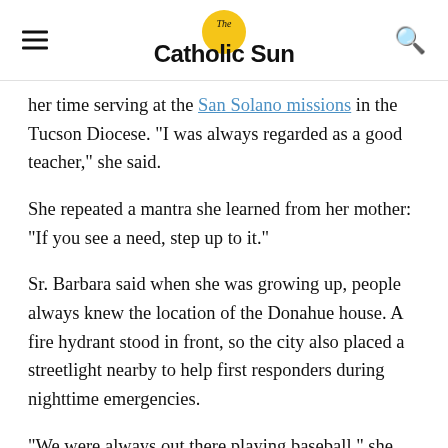The Catholic Sun
her time serving at the San Solano missions in the Tucson Diocese. “I was always regarded as a good teacher,” she said.
She repeated a mantra she learned from her mother: “If you see a need, step up to it.”
Sr. Barbara said when she was growing up, people always knew the location of the Donahue house. A fire hydrant stood in front, so the city also placed a streetlight nearby to help first responders during nighttime emergencies.
“We were always out there playing baseball,” she said.
More than seven decades after the troupe broke up, one memory was as strong as the day it started, said Sr. Barbara